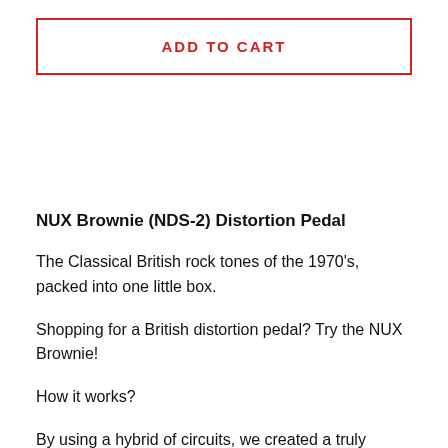ADD TO CART
NUX Brownie (NDS-2) Distortion Pedal
The Classical British rock tones of the 1970's, packed into one little box.
Shopping for a British distortion pedal? Try the NUX Brownie!
How it works?
By using a hybrid of circuits, we created a truly unique pre-